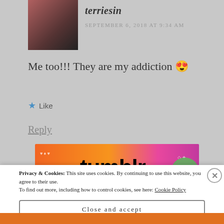[Figure (photo): Small square avatar photo of a person, dark tones]
terriesin
SEPTEMBER 6, 2018 AT 9:34 AM
Me too!!! They are my addiction 😍
★ Like
Reply
[Figure (screenshot): Tumblr banner advertisement with colorful orange and pink background and the word 'tumblr' in bold black text]
Privacy & Cookies: This site uses cookies. By continuing to use this website, you agree to their use.
To find out more, including how to control cookies, see here: Cookie Policy
Close and accept